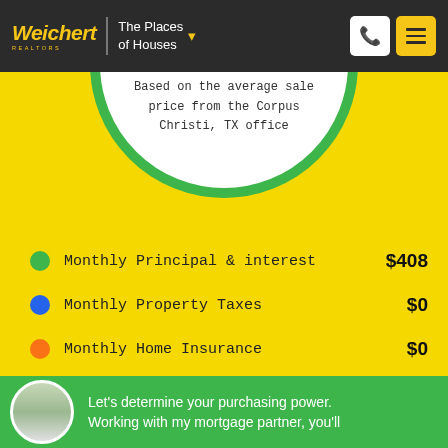[Figure (logo): Weichert Realtors logo with 'The Places of Houses' dropdown text in dark header]
Based on the average sale price from the Corpus Christi, TX office
Monthly Principal & interest   $408
Monthly Property Taxes   $0
Monthly Home Insurance   $0
Adjust Payment Options
Let's determine your purchasing power. Working with my mortgage partner, you'll